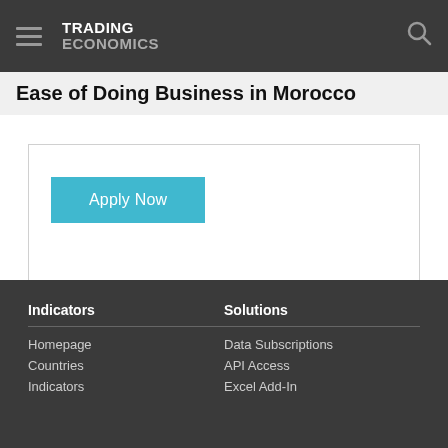TRADING ECONOMICS
Ease of Doing Business in Morocco
[Figure (other): Apply Now button (teal/cyan colored)]
Indicators
Homepage
Countries
Indicators

Solutions
Data Subscriptions
API Access
Excel Add-In